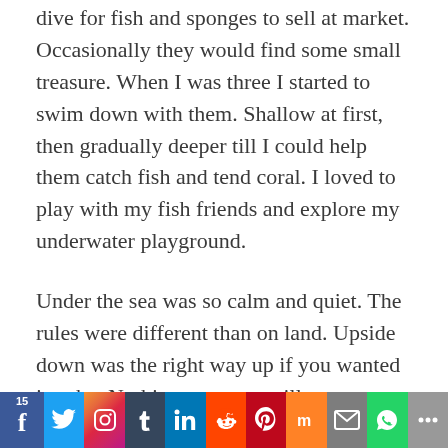dive for fish and sponges to sell at market. Occasionally they would find some small treasure. When I was three I started to swim down with them. Shallow at first, then gradually deeper till I could help them catch fish and tend coral. I loved to play with my fish friends and explore my underwater playground.

Under the sea was so calm and quiet. The rules were different than on land. Upside down was the right way up if you wanted it to be. Nothing was ever still, yet your body ebbed and flowed
15 | f | Twitter | Instagram | Tumblr | LinkedIn | Reddit | Pinterest | Mix | Email | WhatsApp | More